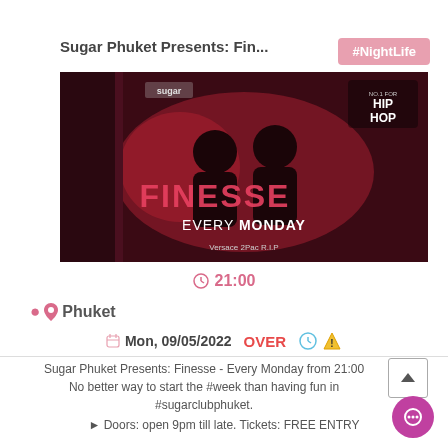Sugar Phuket Presents: Finesse
#NightLife
[Figure (photo): Event promotional image showing two DJs with text FINESSE EVERY MONDAY on a dark red background with hip hop branding]
21:00
Phuket
Mon, 09/05/2022  OVER
Sugar Phuket Presents: Finesse - Every Monday from 21:00
No better way to start the #week than having fun in #sugarclubphuket.
► Doors: open 9pm till late. Tickets: FREE ENTRY